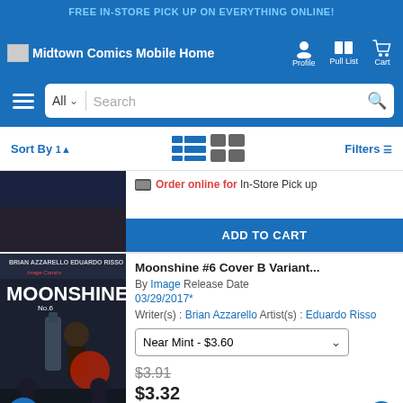FREE IN-STORE PICK UP ON EVERYTHING ONLINE!
[Figure (screenshot): Midtown Comics mobile website navigation bar with logo, Profile, Pull List, Cart icons]
[Figure (screenshot): Search bar with All dropdown and search input field, hamburger menu]
Sort By | view icons | Filters
Order online for In-Store Pick up
ADD TO CART
Moonshine #6 Cover B Variant...
By Image Release Date 03/29/2017*
Writer(s) : Brian Azzarello Artist(s) : Eduardo Risso
Near Mint - $3.60
$3.91
$3.32